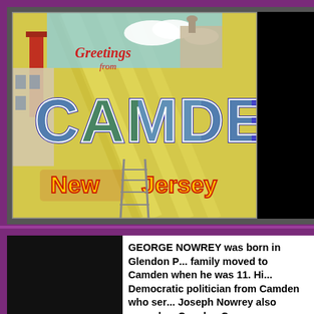[Figure (photo): Vintage postcard reading 'Greetings from Camden New Jersey' with colorful large letters and scenic images of Camden inside the letters.]
GEORGE NOWREY was born in Glendon P... family moved to Camden when he was 11. Hi... Democratic politician from Camden who ser... Joseph Nowrey also served as Camden Coun...
George and Joseph E. Nowrey appear in the 1880s and early 1890s as living at 842 Locust... Nowrey worked as a blacksmith, while Josep... listed at this address is Mary Nowrey, the wi... business. It is likely that Alexander and Mar...